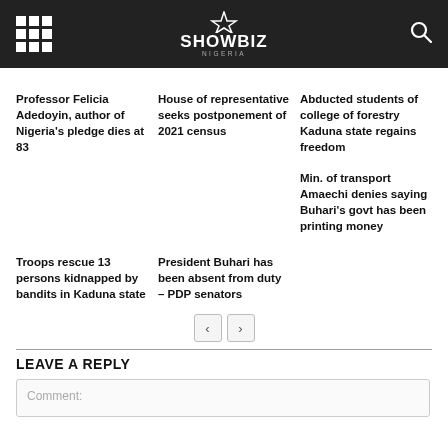Showbiz Nigeria
Professor Felicia Adedoyin, author of Nigeria's pledge dies at 83
House of representative seeks postponement of 2021 census
Abducted students of college of forestry Kaduna state regains freedom
Min. of transport Amaechi denies saying Buhari's govt has been printing money
Troops rescue 13 persons kidnapped by bandits in Kaduna state
President Buhari has been absent from duty – PDP senators
LEAVE A REPLY
Comment: